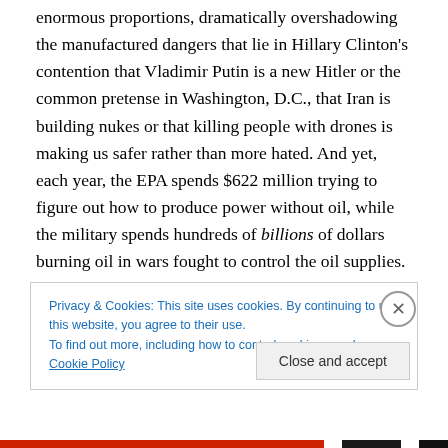enormous proportions, dramatically overshadowing the manufactured dangers that lie in Hillary Clinton's contention that Vladimir Putin is a new Hitler or the common pretense in Washington, D.C., that Iran is building nukes or that killing people with drones is making us safer rather than more hated. And yet, each year, the EPA spends $622 million trying to figure out how to produce power without oil, while the military spends hundreds of billions of dollars burning oil in wars fought to control the oil supplies. The million dollars spent to keep each soldier in a foreign occupation for a year could create
Privacy & Cookies: This site uses cookies. By continuing to use this website, you agree to their use.
To find out more, including how to control cookies, see here: Cookie Policy
Close and accept